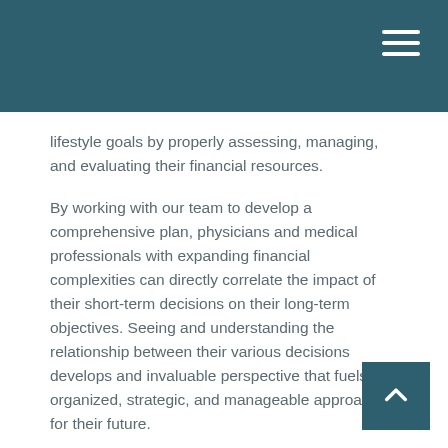lifestyle goals by properly assessing, managing, and evaluating their financial resources.
By working with our team to develop a comprehensive plan, physicians and medical professionals with expanding financial complexities can directly correlate the impact of their short-term decisions on their long-term objectives. Seeing and understanding the relationship between their various decisions develops and invaluable perspective that fuels an organized, strategic, and manageable approach for their future.
Working with our team to develop a comprehensive plan helps address concerns such as:
The Comprehensive Planning process helps address concerns such as: